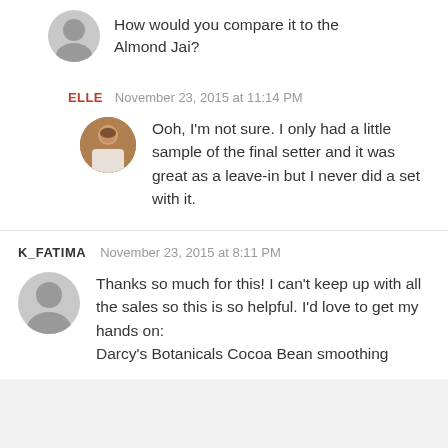How would you compare it to the Almond Jai?
ELLE  November 23, 2015 at 11:14 PM
Ooh, I'm not sure. I only had a little sample of the final setter and it was great as a leave-in but I never did a set with it.
K_FATIMA  November 23, 2015 at 8:11 PM
Thanks so much for this! I can't keep up with all the sales so this is so helpful. I'd love to get my hands on: Darcy's Botanicals Cocoa Bean smoothing